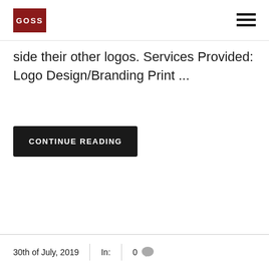GOSS
side their other logos. Services Provided: Logo Design/Branding Print ...
CONTINUE READING
30th of July, 2019  |  In:  |  0